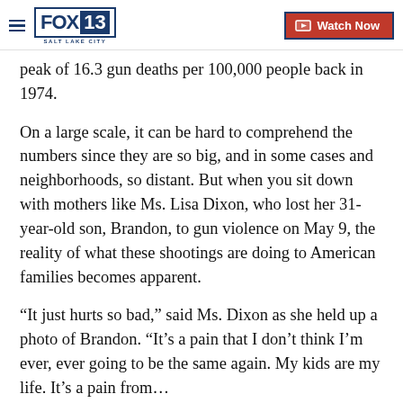FOX 13 Salt Lake City — Watch Now
peak of 16.3 gun deaths per 100,000 people back in 1974.
On a large scale, it can be hard to comprehend the numbers since they are so big, and in some cases and neighborhoods, so distant. But when you sit down with mothers like Ms. Lisa Dixon, who lost her 31-year-old son, Brandon, to gun violence on May 9, the reality of what these shootings are doing to American families becomes apparent.
“It just hurts so bad,” said Ms. Dixon as she held up a photo of Brandon. “It’s a pain that I don’t think I’m ever, ever going to be the same again. My kids are my life. It’s a pain from…